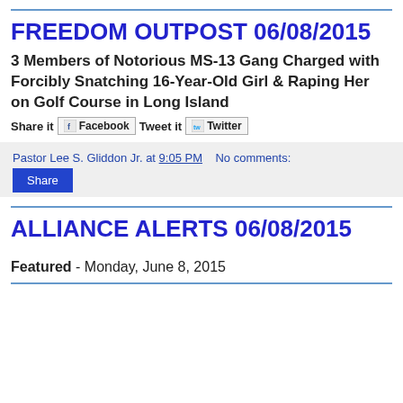FREEDOM OUTPOST 06/08/2015
3 Members of Notorious MS-13 Gang Charged with Forcibly Snatching 16-Year-Old Girl & Raping Her on Golf Course in Long Island
Share it Facebook Tweet it Twitter
Pastor Lee S. Gliddon Jr. at 9:05 PM   No comments:
Share
ALLIANCE ALERTS 06/08/2015
Featured - Monday, June 8, 2015